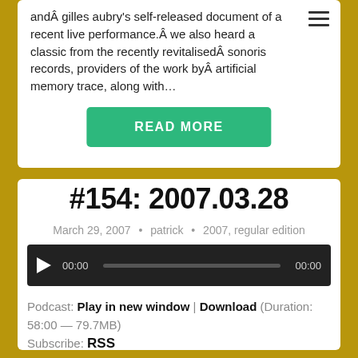andÂ gilles aubry’s self-released document of a recent live performance.Â  we also heard a classic from the recently revitalisedÂ sonoris records, providers of the work byÂ artificial memory trace, along with…
READ MORE
#154: 2007.03.28
March 29, 2007 • patrick • 2007, regular edition
[Figure (other): Audio player bar with play button, 00:00 time display, progress bar, and 00:00 end time on dark background]
Podcast: Play in new window | Download (Duration: 58:00 — 79.7MB)
Subscribe: RSS